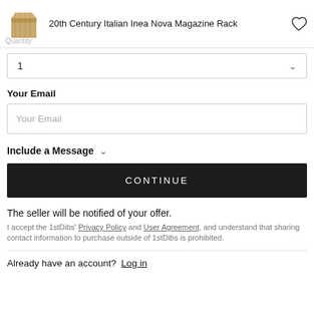[Figure (photo): Product thumbnail image of a wooden magazine rack (20th Century Italian Inea Nova Magazine Rack)]
20th Century Italian Inea Nova Magazine Rack
Quantity
1
Your Email
Your Email
Include a Message
CONTINUE
The seller will be notified of your offer.
I accept the 1stDibs' Privacy Policy and User Agreement, and understand that sharing contact information to purchase outside of 1stDibs is prohibited.
Already have an account? Log in